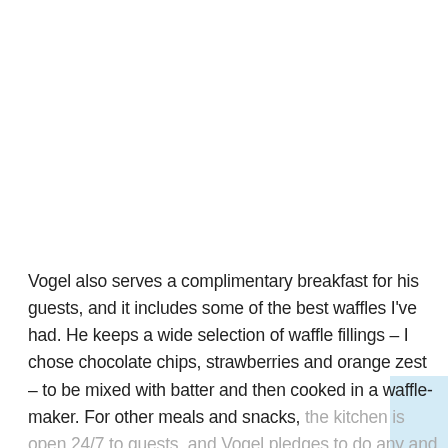Vogel also serves a complimentary breakfast for his guests, and it includes some of the best waffles I've had. He keeps a wide selection of waffle fillings – I chose chocolate chips, strawberries and orange zest – to be mixed with batter and then cooked in a waffle-maker. For other meals and snacks, the kitchen is open 24/7 to guests, and Vogel pledges to do any and all dishes.